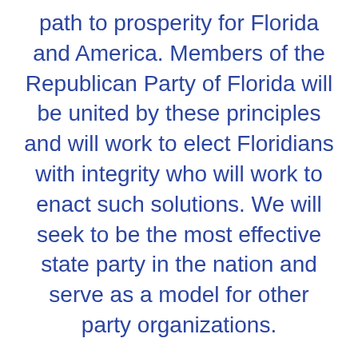path to prosperity for Florida and America. Members of the Republican Party of Florida will be united by these principles and will work to elect Floridians with integrity who will work to enact such solutions. We will seek to be the most effective state party in the nation and serve as a model for other party organizations.